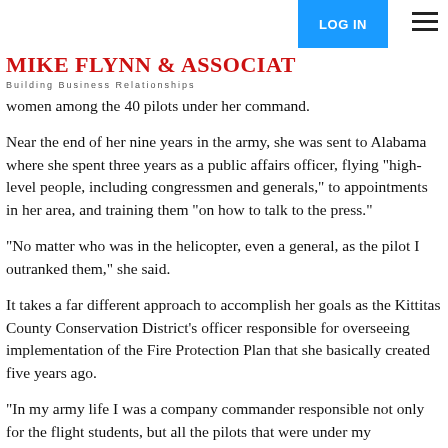Mike Flynn & Associates — Building Business Relationships
women among the 40 pilots under her command.
Near the end of her nine years in the army, she was sent to Alabama where she spent three years as a public affairs officer, flying "high-level people, including congressmen and generals," to appointments in her area, and training them "on how to talk to the press."
"No matter who was in the helicopter, even a general, as the pilot I outranked them," she said.
It takes a far different approach to accomplish her goals as the Kittitas County Conservation District's officer responsible for overseeing implementation of the Fire Protection Plan that she basically created five years ago.
"In my army life I was a company commander responsible not only for the flight students, but all the pilots that were under my command," Wade explained. "In this job I pretty much work autonomously and deal almost exclusively with